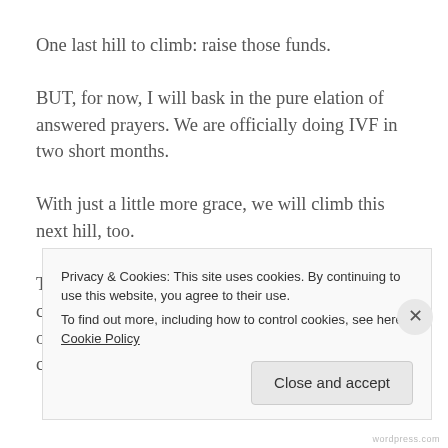One last hill to climb: raise those funds.
BUT, for now, I will bask in the pure elation of answered prayers. We are officially doing IVF in two short months.
With just a little more grace, we will climb this next hill, too.
Thank YOU for EVERY thought, prayer, vibe, call, text and message. I would still be at square one without the unending support of the amazing community around
Privacy & Cookies: This site uses cookies. By continuing to use this website, you agree to their use.
To find out more, including how to control cookies, see here: Cookie Policy
Close and accept